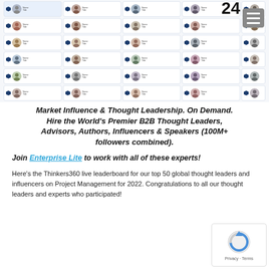[Figure (screenshot): Screenshot of Thinkers360 leaderboard showing 5 columns of ranked thought leader profile cards, each with avatar photos, rank badges, and names. A menu icon and '24' are visible in the top right corner.]
Market Influence & Thought Leadership. On Demand. Hire the World's Premier B2B Thought Leaders, Advisors, Authors, Influencers & Speakers (100M+ followers combined).
Join Enterprise Lite to work with all of these experts!
Here's the Thinkers360 live leaderboard for our top 50 global thought leaders and influencers on Project Management for 2022. Congratulations to all our thought leaders and experts who participated!